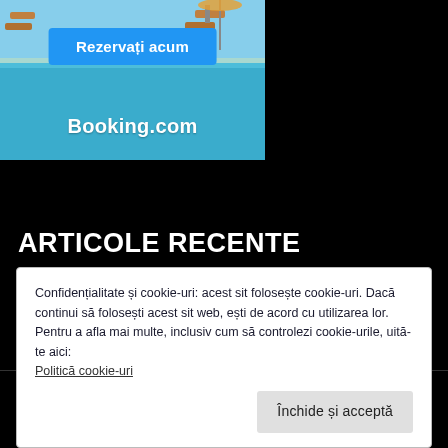[Figure (photo): Booking.com advertisement banner showing a pool with lounge chairs, a blue 'Rezervați acum' (Reserve now) button, and Booking.com logo in white text]
ARTICOLE RECENTE
22 motive ca să participi la Craiova IntenCity, unicul festival EDM și pop din sudul României
Confidențialitate și cookie-uri: acest sit folosește cookie-uri. Dacă continui să folosești acest sit web, ești de acord cu utilizarea lor.
Pentru a afla mai multe, inclusiv cum să controlezi cookie-urile, uită-te aici:
Politică cookie-uri
Închide și acceptă